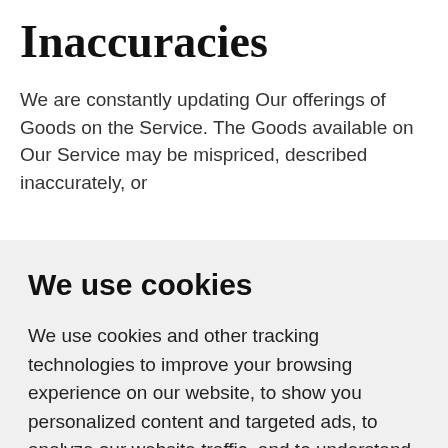Inaccuracies
We are constantly updating Our offerings of Goods on the Service. The Goods available on Our Service may be mispriced, described inaccurately, or
We use cookies
We use cookies and other tracking technologies to improve your browsing experience on our website, to show you personalized content and targeted ads, to analyze our website traffic, and to understand where our visitors are coming from.
I agree | Change my preferences